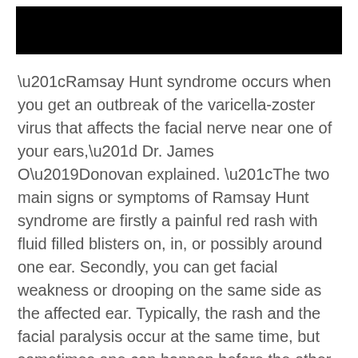[Figure (other): Black redacted bar at top of page]
“Ramsay Hunt syndrome occurs when you get an outbreak of the varicella-zoster virus that affects the facial nerve near one of your ears,” Dr. James O’Donovan explained. “The two main signs or symptoms of Ramsay Hunt syndrome are firstly a painful red rash with fluid filled blisters on, in, or possibly around one ear. Secondly, you can get facial weakness or drooping on the same side as the affected ear. Typically, the rash and the facial paralysis occur at the same time, but sometimes one can happen before the other, and other times the rash never occurs.” he stated.
Other less common symptoms include ear pain, hearing loss, and tinnitus. It also includes vertigo. You will feel your sense of taste has been changed,